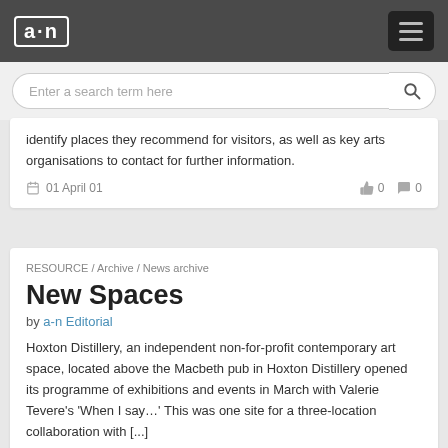a·n
Enter a search term here
identify places they recommend for visitors, as well as key arts organisations to contact for further information.
01 April 01  👍 0  💬 0
RESOURCE / Archive / News archive
New Spaces
by a-n Editorial
Hoxton Distillery, an independent non-for-profit contemporary art space, located above the Macbeth pub in Hoxton Distillery opened its programme of exhibitions and events in March with Valerie Tevere's 'When I say…' This was one site for a three-location collaboration with [...]
01 April 01  👍 0  💬 0